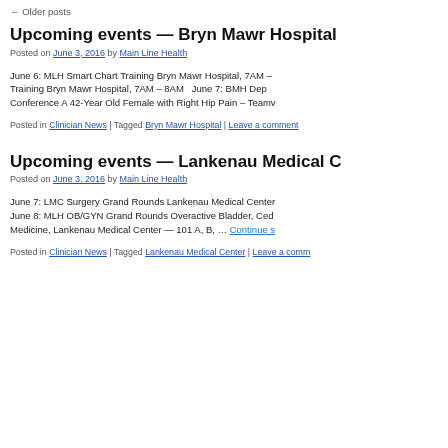← Older posts
Upcoming events — Bryn Mawr Hospital
Posted on June 3, 2016 by Main Line Health
June 6: MLH Smart Chart Training Bryn Mawr Hospital, 7AM – Training Bryn Mawr Hospital, 7AM – 8AM  June 7: BMH Department Conference A 42-Year Old Female with Right Hip Pain – Teamv…
Posted in Clinician News | Tagged Bryn Mawr Hospital | Leave a comment
Upcoming events — Lankenau Medical C…
Posted on June 3, 2016 by Main Line Health
June 7: LMC Surgery Grand Rounds Lankenau Medical Center … June 8: MLH OB/GYN Grand Rounds Overactive Bladder, Ced… Medicine, Lankenau Medical Center — 101 A, B, … Continue s…
Posted in Clinician News | Tagged Lankenau Medical Center | Leave a comm…